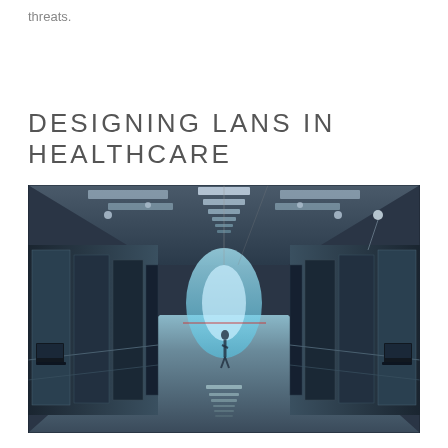threats.
DESIGNING LANS IN HEALTHCARE
[Figure (photo): A perspective view down a long server room or modern data center corridor with glass-paneled server racks on both sides, fluorescent ceiling lights receding toward a bright cyan/blue glowing exit at the far end. A silhouette of a person is visible walking near the end. Laptops are placed on desks along the sides. The floor has a reflective stripe pattern near the far end.]